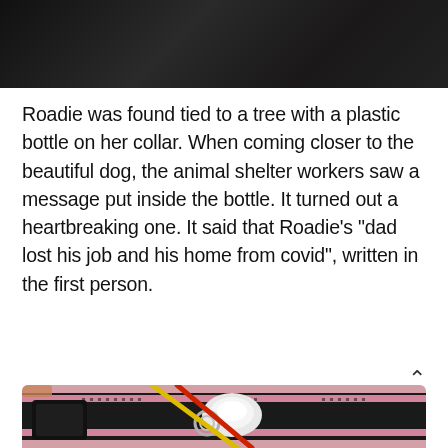[Figure (photo): Dark/black photo at top of page, partially cut off]
Roadie was found tied to a tree with a plastic bottle on her collar. When coming closer to the beautiful dog, the animal shelter workers saw a message put inside the bottle. It turned out a heartbreaking one. It said that Roadie’s “dad lost his job and his home from covid”, written in the first person.
[Figure (photo): Close-up photo of a dog collar (black with pink stripes) with a small white plastic bottle attached to it, along with red and yellow straws/sticks and metal rings.]